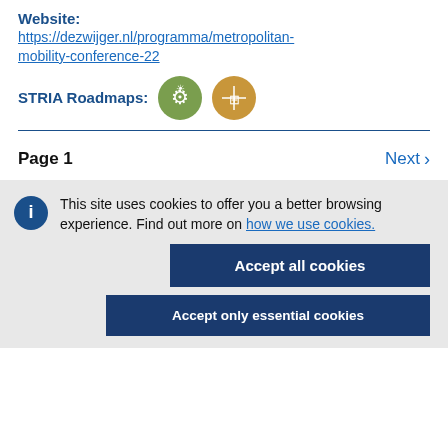Website:
https://dezwijger.nl/programma/metropolitan-mobility-conference-22
STRIA Roadmaps: [green icon] [gold icon]
Page 1   Next >
This site uses cookies to offer you a better browsing experience. Find out more on how we use cookies.
Accept all cookies
Accept only essential cookies